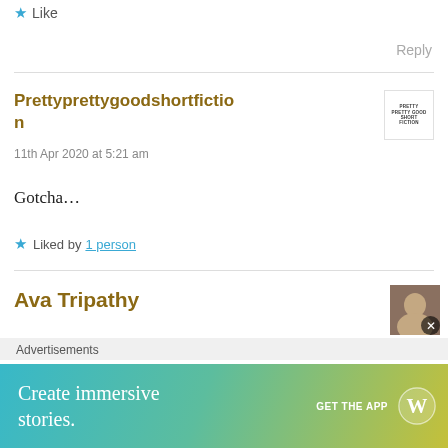★ Like
Reply
Prettyprettygoodshortfiction
11th Apr 2020 at 5:21 am
Gotcha…
★ Liked by 1 person
Ava Tripathy
Advertisements
Create immersive stories.
GET THE APP